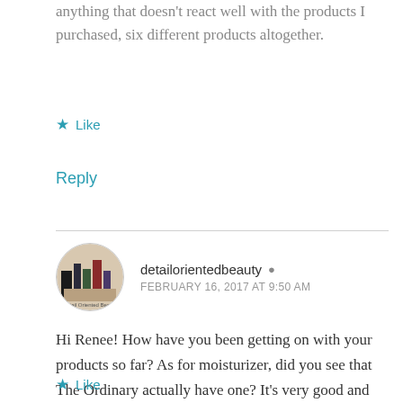anything that doesn't react well with the products I purchased, six different products altogether.
Like
Reply
detailorientedbeauty
FEBRUARY 16, 2017 AT 9:50 AM
Hi Renee! How have you been getting on with your products so far? As for moisturizer, did you see that The Ordinary actually have one? It's very good and one I highly recommend. It should work well with what you've got since it's from the same brand. ❤
Like